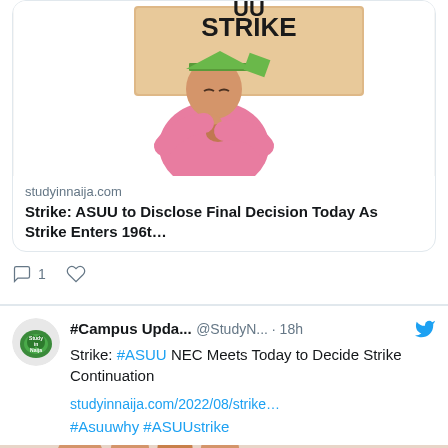[Figure (illustration): Illustration of a person wearing a graduation cap and pink shirt holding a protest sign that reads 'STRIKE']
studyinnaija.com
Strike: ASUU to Disclose Final Decision Today As Strike Enters 196t…
1
#Campus Upda... @StudyN... · 18h
Strike: #ASUU NEC Meets Today to Decide Strike Continuation
studyinnaija.com/2022/08/strike…
#Asuuwhy #ASUUstrike
[Figure (photo): Partial image of hands visible at the bottom of the page]